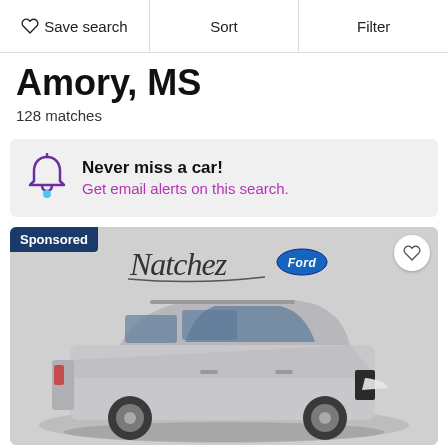Save search  Sort  Filter
Amory, MS
128 matches
Never miss a car! Get email alerts on this search.
[Figure (photo): Sponsored car listing for Natchez Ford showing a silver Ford Explorer SUV on a display platform. Sponsored label in top-left corner, heart/save button in top-right corner, Natchez Ford dealer logo at top center.]